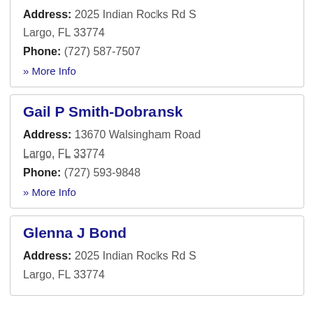Address: 2025 Indian Rocks Rd S
Largo, FL 33774
Phone: (727) 587-7507
» More Info
Gail P Smith-Dobransk
Address: 13670 Walsingham Road
Largo, FL 33774
Phone: (727) 593-9848
» More Info
Glenna J Bond
Address: 2025 Indian Rocks Rd S
Largo, FL 33774